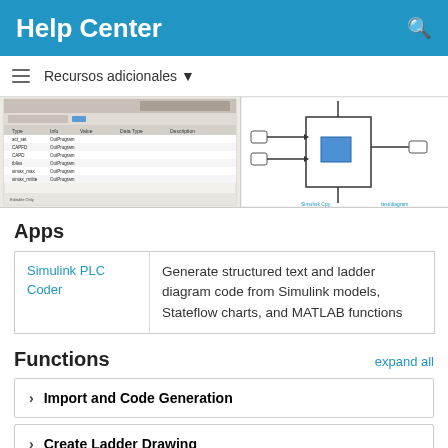Help Center
Recursos adicionales ▾
[Figure (screenshot): Screenshot of a Simulink data type table editor dialog with rows listing signal names and types]
[Figure (engineering-diagram): Simulink block diagram showing interconnected blocks with signal lines]
Apps
|  |  |
| --- | --- |
| Simulink PLC Coder | Generate structured text and ladder diagram code from Simulink models, Stateflow charts, and MATLAB functions |
Functions
expand all
Import and Code Generation
Create Ladder Drawing